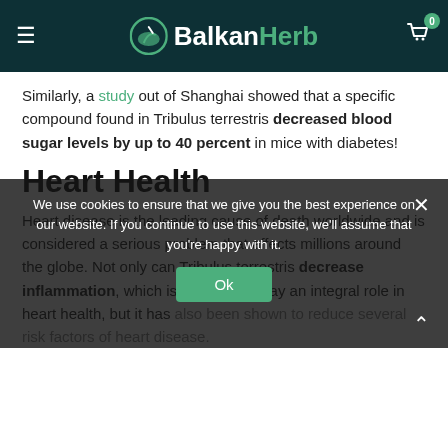BalkanHerb
Similarly, a study out of Shanghai showed that a specific compound found in Tribulus terrestris decreased blood sugar levels by up to 40 percent in mice with diabetes!
Heart Health
Heart disease is the leading cause of death worldwide and is considered a serious problem that affects millions around the globe. Not only can Tribulus terrestris decrease inflammation, which is believed to play an integral role in heart health, but it has also been shown to reduce several risk factors of heart disease. For instance, one study continue to manage... also once a day decreased levels of LDL and bad cholesterol. An animal study out of Istanbul had similar findings, reporting that it was to protect the blood vessels against damage while also lowering
We use cookies to ensure that we give you the best experience on our website. If you continue to use this website, we'll assume that you're happy with it.